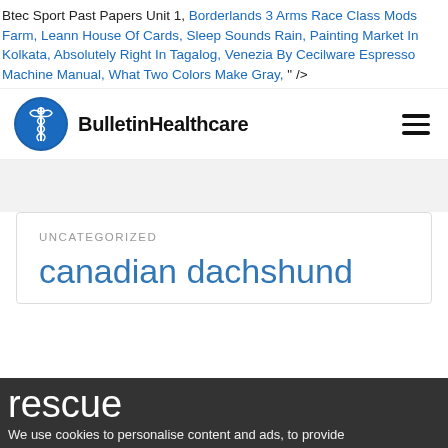Btec Sport Past Papers Unit 1, Borderlands 3 Arms Race Class Mods Farm, Leann House Of Cards, Sleep Sounds Rain, Painting Market In Kolkata, Absolutely Right In Tagalog, Venezia By Cecilware Espresso Machine Manual, What Two Colors Make Gray, " />
[Figure (logo): BulletinHealthcare logo with medical caduceus symbol in blue circle and bold text 'BulletinHealthcare']
UNCATEGORIZED
canadian dachshund rescue
We use cookies to personalise content and ads, to provide social media features and to analyse our traffic. We also share